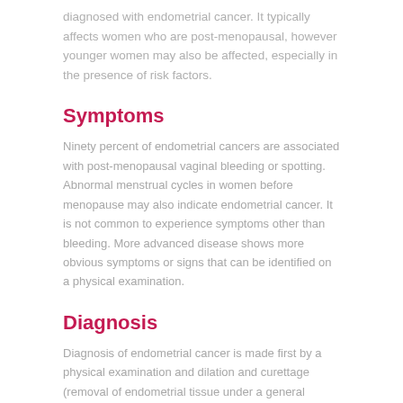diagnosed with endometrial cancer. It typically affects women who are post-menopausal, however younger women may also be affected, especially in the presence of risk factors.
Symptoms
Ninety percent of endometrial cancers are associated with post-menopausal vaginal bleeding or spotting. Abnormal menstrual cycles in women before menopause may also indicate endometrial cancer. It is not common to experience symptoms other than bleeding. More advanced disease shows more obvious symptoms or signs that can be identified on a physical examination.
Diagnosis
Diagnosis of endometrial cancer is made first by a physical examination and dilation and curettage (removal of endometrial tissue under a general anaesthetic; D&C). This tissue is then examined histologically for characteristics of cancer. If cancer is found, medical imaging is required to assess whether the cancer has spread or invaded surrounding tissues.